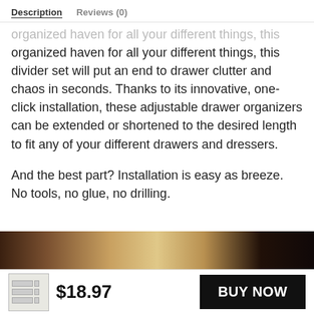Description   Reviews (0)
organized haven for all your different things, this divider set will put an end to drawer clutter and chaos in seconds. Thanks to its innovative, one-click installation, these adjustable drawer organizers can be extended or shortened to the desired length to fit any of your different drawers and dressers.
And the best part? Installation is easy as breeze. No tools, no glue, no drilling.
[Figure (photo): Partial product photo strip showing drawer organizer in a wooden drawer, mostly dark background]
$18.97
BUY NOW